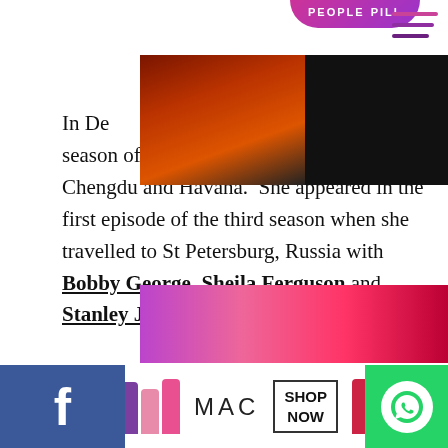[Figure (screenshot): Seamless food delivery ad banner with pizza image and ORDER NOW button]
[Figure (logo): People Pill website logo at top]
[Figure (infographic): Hamburger menu icon top right]
In December 2016 she joined the second season of The Real Marigold On Tour to Chengdu and Havana. She appeared in the first episode of the third season when she travelled to St Petersburg, Russia with Bobby George, Sheila Ferguson and Stanley Johnson
In January 2018 Margolyes hosted a three-part series for the BBC titled Miriam's Big American Adventure, highlighting the nation.
[Figure (screenshot): Cookie consent popup: 'This website uses cookies to ensure you get the best experience on our website. Learn more' with 'Got it!' button]
[Figure (screenshot): MAC cosmetics advertisement with lipstick images and SHOP NOW button at bottom]
[Figure (screenshot): Facebook and WhatsApp social media icons in bottom bar]